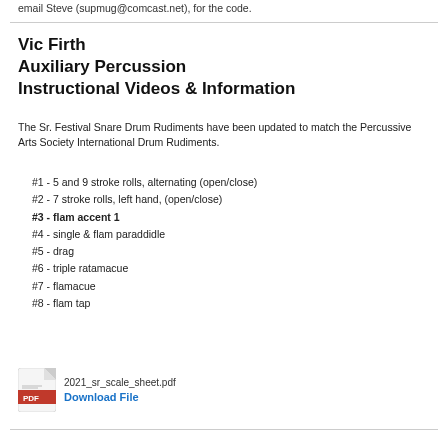email Steve (supmug@comcast.net), for the code.
Vic Firth
Auxiliary Percussion
Instructional Videos & Information
The Sr. Festival Snare Drum Rudiments have been updated to match the Percussive Arts Society International Drum Rudiments.
#1 - 5 and 9 stroke rolls, alternating (open/close)
#2 - 7 stroke rolls, left hand, (open/close)
#3 - flam accent 1
#4 - single & flam paraddidle
#5 - drag
#6 - triple ratamacue
#7 - flamacue
#8 - flam tap
2021_sr_scale_sheet.pdf
Download File